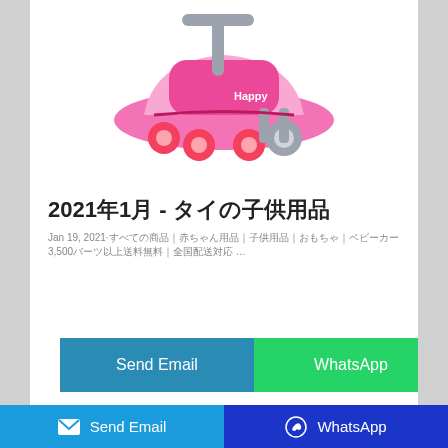[Figure (photo): Pink children's ride-on toy/walker with wheels and a handle, labeled 'Happy']
2021年1月 - タイの子供用品
Jan 19, 2021·すべての商品｜赤ちゃん用品｜子供用品｜おもちゃ｜ベビーカー3,500バーツ以上送料無料｜全国配送対応 …
Send Email
WhatsApp
Send Email   WhatsApp